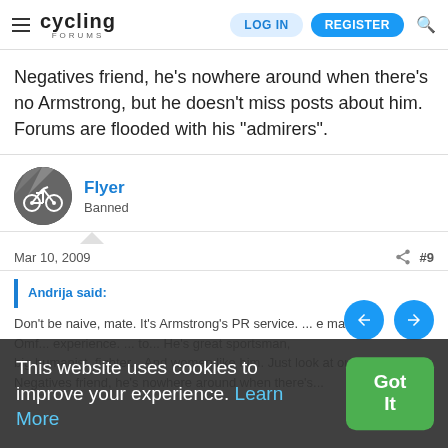Cycling Forums — LOG IN | REGISTER
Negatives friend, he's nowhere around when there's no Armstrong, but he doesn't miss posts about him. Forums are flooded with his "admirers".
Flyer — Banned
Mar 10, 2009  #9
Andrija said:
Don't be naive, mate. It's Armstrong's PR service. ... great sportsman, big humanist, fighter... And women like him. Just look at our Negatives friend, he's nowhere around when the...
This website uses cookies to improve your experience. Learn More  Got It